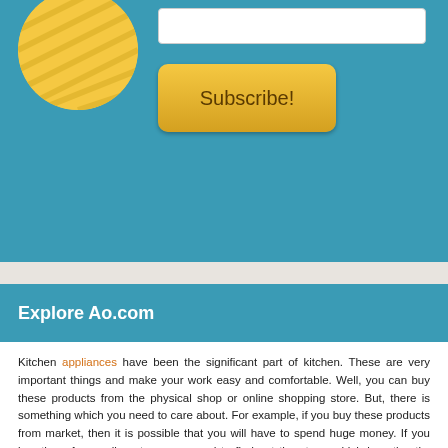[Figure (other): Yellow circle with hatching on teal/blue background, partially cropped at top-left]
[Figure (other): White input box (text field) on teal background]
[Figure (other): Golden 'Subscribe!' button on teal background]
Explore Ao.com
Kitchen appliances have been the significant part of kitchen. These are very important things and make your work easy and comfortable. Well, you can buy these products from the physical shop or online shopping store. But, there is something which you need to care about. For example, if you buy these products from market, then it is possible that you will have to spend huge money. If you buy them from online store, you need to find out the store, which is authentic, reliable, secure, and provides best discount without compromising with the products. So, when it comes to the best online shopping stores, then the ao.com stands at the top of the list.
The online store offers a wide range of products like washing machine, dryers, dishwashers, fridges, freezers, cooking products, built in products, and so much more. For the best user experience, the store has divided various categories so that you can find the desired products in just a few clicks. If you can specific